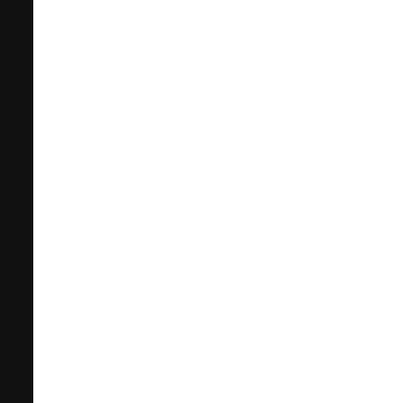[Figure (photo): Left dark/black vertical bar panel]
[Figure (photo): White/light background area in center-left of page]
[Figure (illustration): Top card with magenta/purple background and partial white logo box in upper right corner]
Southwest    A Partnership with A
[Figure (photo): Portrait photo of a smiling middle-aged man with salt-and-pepper hair and beard, wearing a gray suit jacket, against a teal/blue background]
American    Airline Jayaram as EVP a